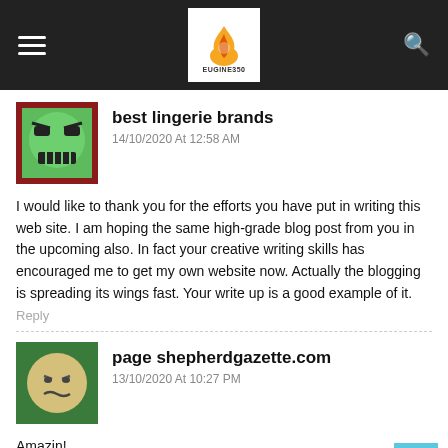EUGINE350 (logo header bar)
best lingerie brands
14/10/2020 At 12:58 AM
I would like to thank you for the efforts you have put in writing this web site. I am hoping the same high-grade blog post from you in the upcoming also. In fact your creative writing skills has encouraged me to get my own website now. Actually the blogging is spreading its wings fast. Your write up is a good example of it.
Reply
page shepherdgazette.com
13/10/2020 At 10:27 PM
Amazin!
Reply